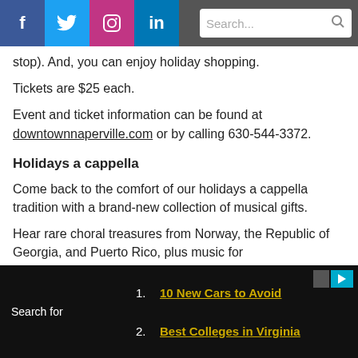Social media icons (Facebook, Twitter, Instagram, LinkedIn) and search bar
stop). And, you can enjoy holiday shopping.
Tickets are $25 each.
Event and ticket information can be found at downtownnaperville.com or by calling 630-544-3372.
Holidays a cappella
Come back to the comfort of our holidays a cappella tradition with a brand-new collection of musical gifts.
Hear rare choral treasures from Norway, the Republic of Georgia, and Puerto Rico, plus music for
Search for  1. 10 New Cars to Avoid  2. Best Colleges in Virginia